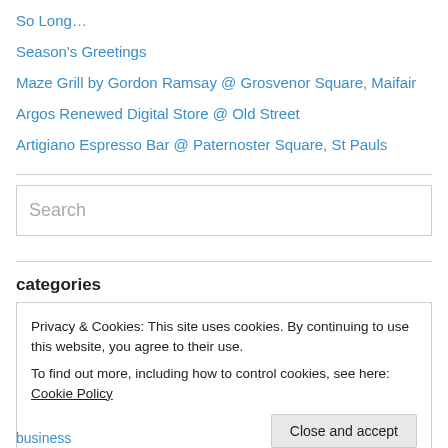So Long…
Season's Greetings
Maze Grill by Gordon Ramsay @ Grosvenor Square, Maifair
Argos Renewed Digital Store @ Old Street
Artigiano Espresso Bar @ Paternoster Square, St Pauls
Search
categories
Privacy & Cookies: This site uses cookies. By continuing to use this website, you agree to their use.
To find out more, including how to control cookies, see here: Cookie Policy
Close and accept
business (6)